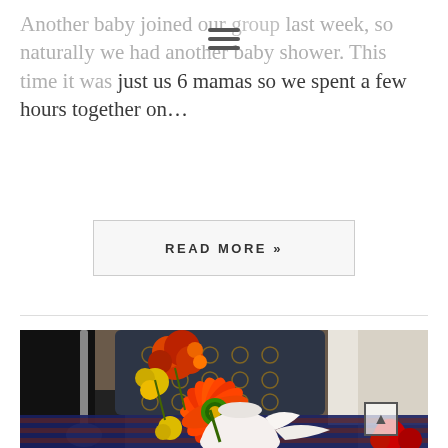Another baby joined our group last week, so naturally we had another baby shower. This time it was just us 6 mamas so we spent a few hours together on…
READ MORE »
[Figure (photo): Floral centerpiece with red gerbera daisies, yellow chrysanthemums, and orange flowers in a white vase on a table at what appears to be an event venue with patterned carpet and dark upholstered chairs visible in the background.]